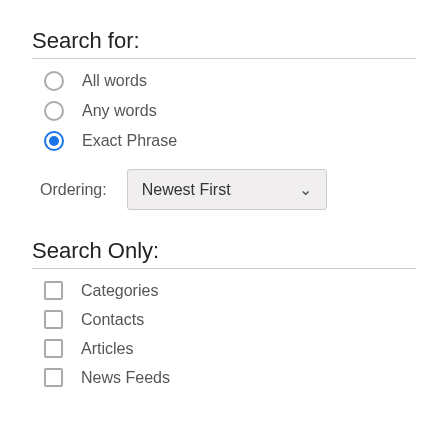Search for:
All words (radio, unselected)
Any words (radio, unselected)
Exact Phrase (radio, selected)
Ordering: Newest First
Search Only:
Categories (checkbox, unchecked)
Contacts (checkbox, unchecked)
Articles (checkbox, unchecked)
News Feeds (checkbox, unchecked)